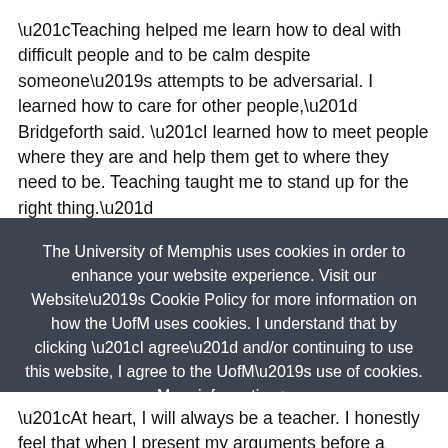“Teaching helped me learn how to deal with difficult people and to be calm despite someone’s attempts to be adversarial. I learned how to care for other people,” Bridgeforth said. “I learned how to meet people where they are and help them get to where they need to be. Teaching taught me to stand up for the right thing.”
The University of Memphis uses cookies in order to enhance your website experience. Visit our Website’s Cookie Policy for more information on how the UofM uses cookies. I understand that by clicking “I agree” and/or continuing to use this website, I agree to the UofM’s use of cookies. More information >
“At heart, I will always be a teacher. I honestly feel that when I present my arguments before a court, I am teaching